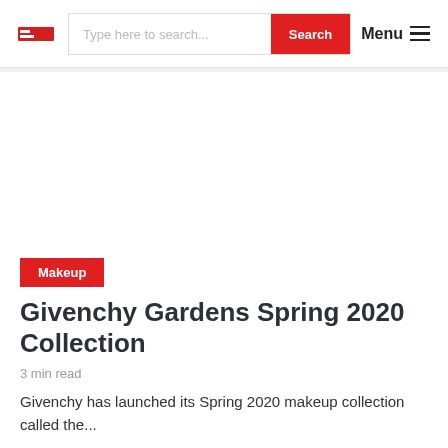MODA [logo] | Type here to search... | Search | Menu
[Figure (photo): White/blank hero image area]
Makeup
Givenchy Gardens Spring 2020 Collection
3 min read
Givenchy has launched its Spring 2020 makeup collection called the...